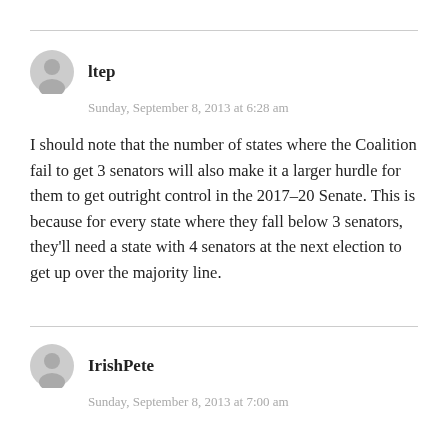ltep
Sunday, September 8, 2013 at 6:28 am
I should note that the number of states where the Coalition fail to get 3 senators will also make it a larger hurdle for them to get outright control in the 2017-20 Senate. This is because for every state where they fall below 3 senators, they’ll need a state with 4 senators at the next election to get up over the majority line.
IrishPete
Sunday, September 8, 2013 at 7:00 am